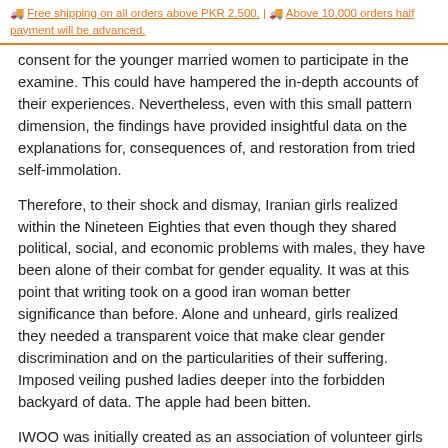Free shipping on all orders above PKR 2,500. | Above 10,000 orders half payment will be advanced.
consent for the younger married women to participate in the examine. This could have hampered the in-depth accounts of their experiences. Nevertheless, even with this small pattern dimension, the findings have provided insightful data on the explanations for, consequences of, and restoration from tried self-immolation.
Therefore, to their shock and dismay, Iranian girls realized within the Nineteen Eighties that even though they shared political, social, and economic problems with males, they have been alone of their combat for gender equality. It was at this point that writing took on a good iran woman better significance than before. Alone and unheard, girls realized they needed a transparent voice that make clear gender discrimination and on the particularities of their suffering. Imposed veiling pushed ladies deeper into the forbidden backyard of data. The apple had been bitten.
IWOO was initially created as an association of volunteer girls devoted to improving the lives of Iranian ladies and households. In 2009, IWOO adopted a new imaginative and prescient and